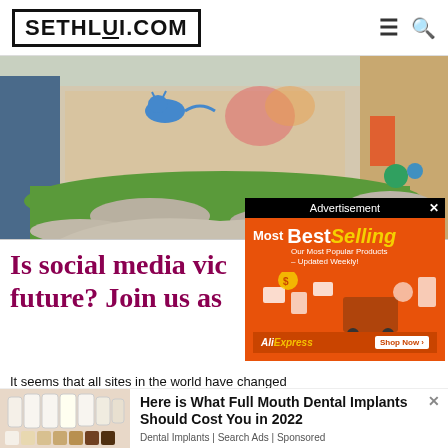SETHLUI.COM
[Figure (photo): Outdoor courtyard scene with grass, stone pathway, colorful murals on walls including a blue cat illustration, colorful doors and balls in background]
[Figure (other): Advertisement popup overlay with black header labeled 'Advertisement' and orange AliExpress 'Most BestSelling' promotional banner with shopping cart illustration]
Is social media vic future? Join us as
It seems that all sites in the world have changed
[Figure (photo): Bottom advertisement showing dental implants/teeth image with text 'Here is What Full Mouth Dental Implants Should Cost You in 2022']
Here is What Full Mouth Dental Implants Should Cost You in 2022
Dental Implants | Search Ads | Sponsored